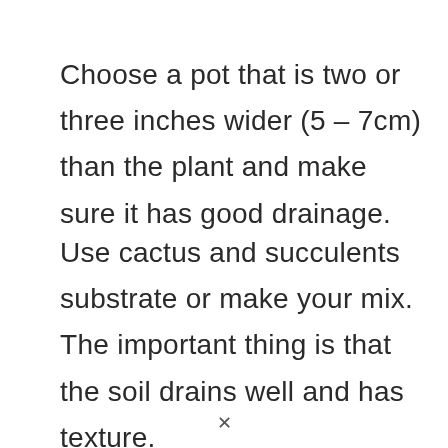Choose a pot that is two or three inches wider (5 – 7cm) than the plant and make sure it has good drainage.
Use cactus and succulents substrate or make your mix. The important thing is that the soil drains well and has texture.